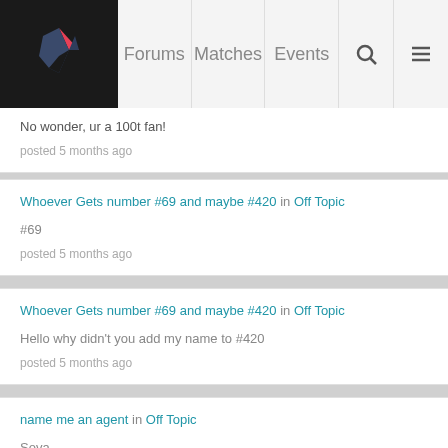Forums | Matches | Events
No wonder, ur a 100t fan!
posted 5 months ago
Whoever Gets number #69 and maybe #420 in Off Topic
#69
posted 5 months ago
Whoever Gets number #69 and maybe #420 in Off Topic
Hello why didn't you add my name to #420
posted 5 months ago
name me an agent in Off Topic
Sova
posted 5 months ago
THIS WEEK's predictions in General Discussion